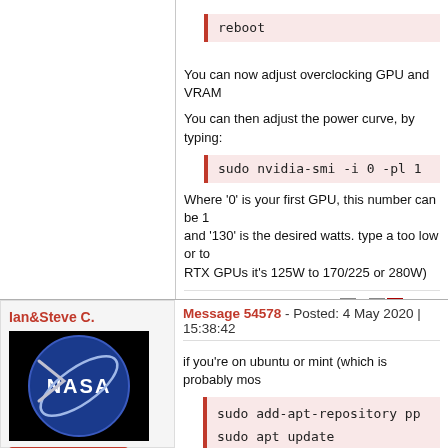reboot
You can now adjust overclocking GPU and VRAM
You can then adjust the power curve, by typing:
sudo nvidia-smi -i 0 -pl 1
Where '0' is your first GPU, this number can be 1 and '130' is the desired watts. type a too low or to RTX GPUs it's 125W to 170/225 or 280W)
ID: 54573 | Rating: 0 | rate: +/- Reply Qu
Ian&Steve C.
[Figure (photo): NASA logo avatar - blue circular NASA logo on black background]
Send message
Joined: 21 Feb 20
Message 54578 - Posted: 4 May 2020 | 15:38:42
if you're on ubuntu or mint (which is probably mos
sudo add-apt-repository pp
sudo apt update
sudo apt install nvidia-dr
then you don't have to deal with all the nonsense